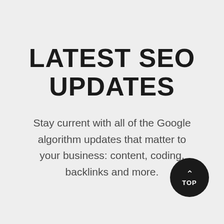LATEST SEO UPDATES
Stay current with all of the Google algorithm updates that matter to your business: content, coding, backlinks and more.
[Figure (other): Dark circular 'TOP' button with upward chevron arrow, positioned bottom-right]